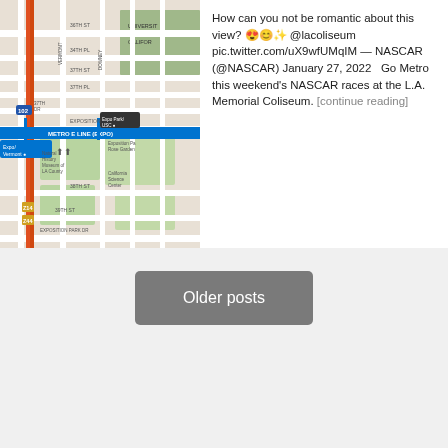[Figure (map): Street map showing Metro E Line (Expo) area near USC, with Expo/Vermont station marked and surrounding streets including Exposition Park area.]
How can you not be romantic about this view? 😍😊✨ @lacoliseum pic.twitter.com/uX9wfUMqIM — NASCAR (@NASCAR) January 27, 2022   Go Metro this weekend's NASCAR races at the L.A. Memorial Coliseum. [continue reading]
Older posts
COPYRIGHT © 2022 | METRO - LOS ANGELES COUNTY METROPOLITAN TRANSPORTATION AUTHORITY - THE SOURCE